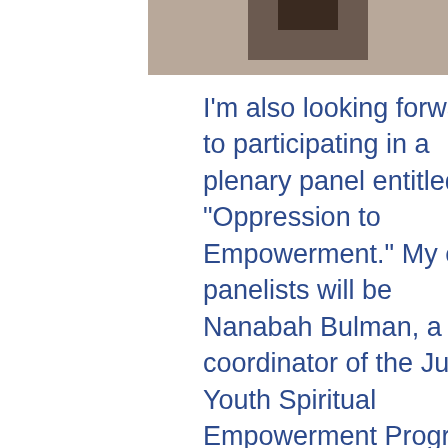[Figure (photo): Two cropped portrait photos side by side at the top of the page. Left photo shows a person with dark hair, right photo shows a person in a suit with a tie.]
I'm also looking forward to participating in a plenary panel entitled "Oppression to Empowerment." My co-panelists will be Nanabah Bulman, a coordinator of the Junior Youth Spiritual Empowerment Program on the Navajo Reservation; Marilyn Calderon, a family physician in San Deigo; and Eric Dozier, a cultural activist in Nashville. The moderator will be Payam Akhavan, professor of international law at McGill University in Montreal and former staffer of the International Criminal Tribunal for the Former Yugoslavia and Rwanda at The Hague. The round-table style panel will focus on experiences of applying the